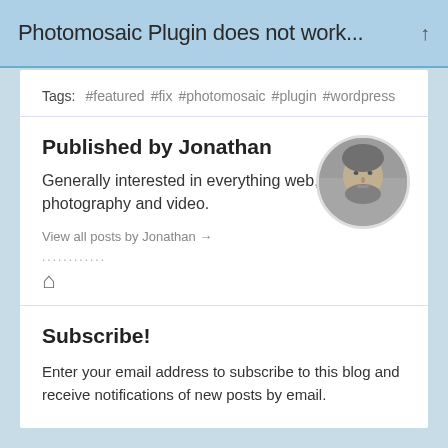Photomosaic Plugin does not work...
Tags: #featured #fix #photomosaic #plugin #wordpress
Published by Jonathan
Generally interested in everything web, photography and video.
View all posts by Jonathan →
[Figure (photo): Circular avatar photo of Jonathan, a man with a beard shown in black and white]
Subscribe!
Enter your email address to subscribe to this blog and receive notifications of new posts by email.